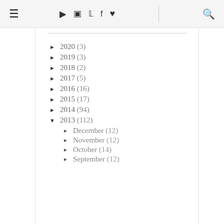≡  ▶  📷  🐦  f  ♥  🔍
► 2020 (3)
► 2019 (3)
► 2018 (2)
► 2017 (5)
► 2016 (16)
► 2015 (17)
► 2014 (94)
▼ 2013 (112)
► December (12)
► November (12)
► October (14)
► September (12)